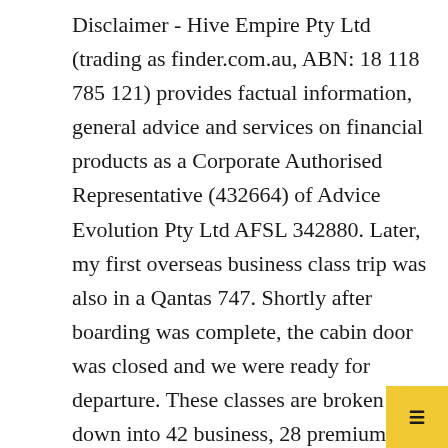Disclaimer - Hive Empire Pty Ltd (trading as finder.com.au, ABN: 18 118 785 121) provides factual information, general advice and services on financial products as a Corporate Authorised Representative (432664) of Advice Evolution Pty Ltd AFSL 342880. Later, my first overseas business class trip was also in a Qantas 747. Shortly after boarding was complete, the cabin door was closed and we were ready for departure. These classes are broken down into 42 business, 28 premium economy and 188 economy seats. When products are grouped in a table or list, the order in which they are initially sorted may be influenced by a range of factors including price, fees and discounts; commercial partnerships; product features; and brand popularity. That's because the Qantas 787 does Business Class right, especially in terms of comfort, convenience, entertainment and space, product provider. We cannot